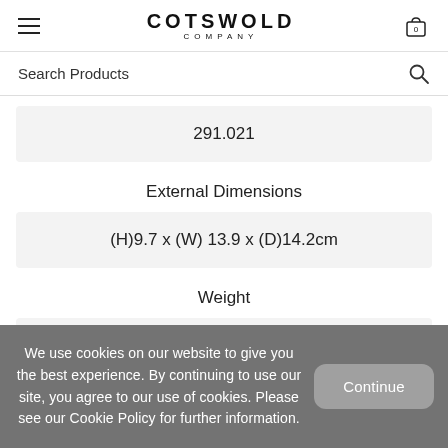COTSWOLD COMPANY
Search Products
291.021
External Dimensions
(H)9.7 x (W) 13.9 x (D)14.2cm
Weight
We use cookies on our website to give you the best experience. By continuing to use our site, you agree to our use of cookies. Please see our Cookie Policy for further information.